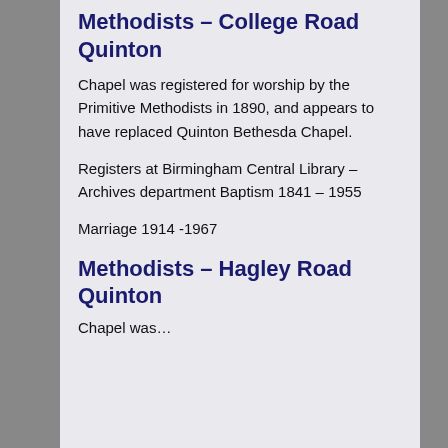Methodists – College Road Quinton
Chapel was registered for worship by the Primitive Methodists in 1890, and appears to have replaced Quinton Bethesda Chapel.
Registers at Birmingham Central Library – Archives department Baptism 1841 – 1955
Marriage 1914 -1967
Methodists – Hagley Road Quinton
Chapel was...